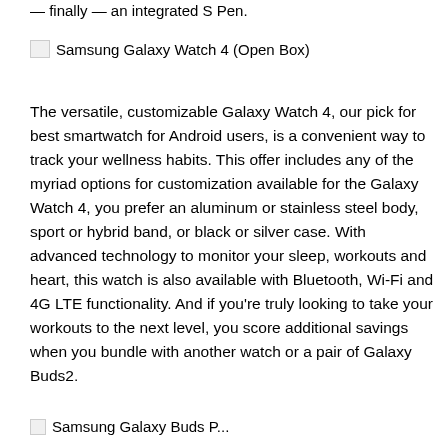— finally — an integrated S Pen.
[Figure (other): Broken image icon for Samsung Galaxy Watch 4 (Open Box)]
The versatile, customizable Galaxy Watch 4, our pick for best smartwatch for Android users, is a convenient way to track your wellness habits. This offer includes any of the myriad options for customization available for the Galaxy Watch 4, you prefer an aluminum or stainless steel body, sport or hybrid band, or black or silver case. With advanced technology to monitor your sleep, workouts and heart, this watch is also available with Bluetooth, Wi-Fi and 4G LTE functionality. And if you're truly looking to take your workouts to the next level, you score additional savings when you bundle with another watch or a pair of Galaxy Buds2.
[Figure (other): Broken image icon for Samsung Galaxy Buds Pro or similar product]